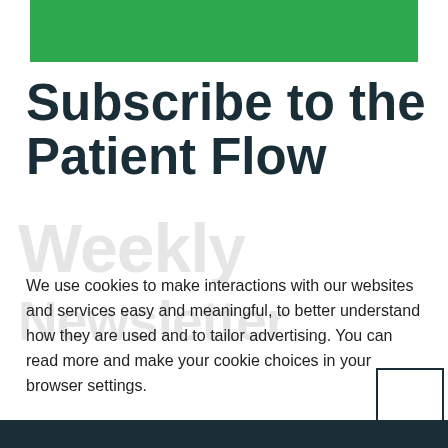[Figure (other): Green header bar at top of page]
Subscribe to the Patient Flow
Weekly Newsletter (watermark/background text)
We use cookies to make interactions with our websites and services easy and meaningful, to better understand how they are used and to tailor advertising. You can read more and make your cookie choices in your browser settings.
Learn more   Privacy policy
Business Email (input placeholder)
DENY
GOT IT!
[Figure (other): Dark navy footer bar at bottom of page]